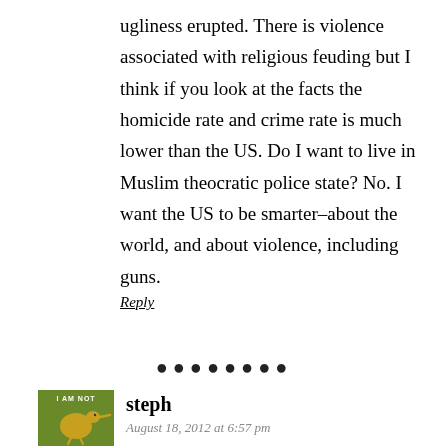ugliness erupted. There is violence associated with religious feuding but I think if you look at the facts the homicide rate and crime rate is much lower than the US. Do I want to live in Muslim theocratic police state? No. I want the US to be smarter–about the world, and about violence, including guns.
Reply
• • • • • • • •
[Figure (illustration): Small square avatar image with green background showing a kiwi bird and text 'I AM NOT' at top]
steph
August 18, 2012 at 6:57 pm